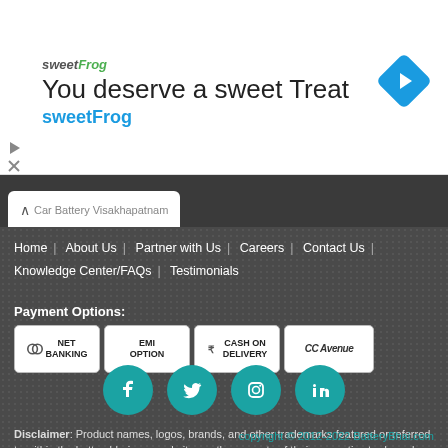[Figure (screenshot): Advertisement banner for sweetFrog with logo, tagline 'You deserve a sweet Treat', and a navigation arrow icon]
Car Battery Visakhapatnam
Home | About Us | Partner with Us | Careers | Contact Us | Knowledge Center/FAQs | Testimonials
Payment Options:
[Figure (infographic): Payment option buttons: NET BANKING, EMI OPTION, CASH ON DELIVERY (with rupee icon), CC Avenue]
[Figure (infographic): Social media icons: Facebook, Twitter, Instagram, LinkedIn — teal circles]
Disclaimer: Product names, logos, brands, and other trademarks featured or referred to within the batterybhai.com website are the property of their respective trademark holders. These trademark holders are not affiliated with BatteryBhai, or our website. They do not sponsor or endorse our website, materials or services.
copyright © 2012-2022 BatteryBhai.com